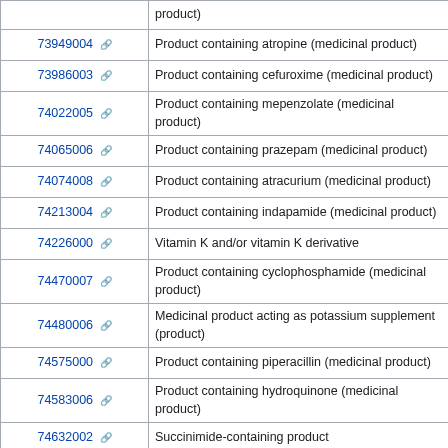| Code | Description |
| --- | --- |
|  | product) |
| 73949004 | Product containing atropine (medicinal product) |
| 73986003 | Product containing cefuroxime (medicinal product) |
| 74022005 | Product containing mepenzolate (medicinal product) |
| 74065006 | Product containing prazepam (medicinal product) |
| 74074008 | Product containing atracurium (medicinal product) |
| 74213004 | Product containing indapamide (medicinal product) |
| 74226000 | Vitamin K and/or vitamin K derivative |
| 74470007 | Product containing cyclophosphamide (medicinal product) |
| 74480006 | Medicinal product acting as potassium supplement (product) |
| 74575000 | Product containing piperacillin (medicinal product) |
| 74583006 | Product containing hydroquinone (medicinal product) |
| 74632002 | Succinimide-containing product |
| 74674007 | Product containing propofol (medicinal product) |
| 74771007 | Product containing phenoxybenzamine (medicinal product) |
| 74782004 | Product containing naturally occurring alkaloid (product) |
| 74798006 | Product containing pipenzolate (medicinal product) |
| 74819009 | Product containing acetohydroxamic acid (medicinal product) |
| 75029008 | Deoxycortone-containing product |